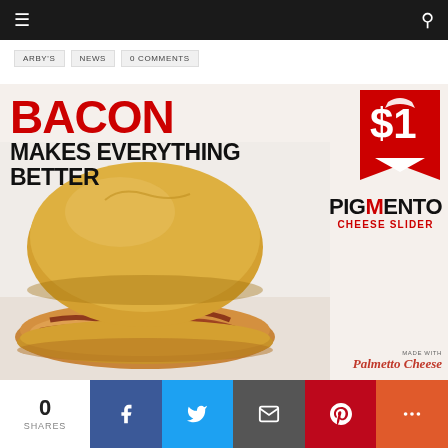Navigation bar with menu and search icons
ARBY'S  NEWS  0 COMMENTS
[Figure (photo): Arby's advertisement image showing a Pigmento Cheese Slider sandwich with text 'BACON MAKES EVERYTHING BETTER' and '$1' price badge, with Palmetto Cheese logo. The slider features a round bun with bacon and pimento cheese filling.]
0 SHARES
Social share buttons: Facebook, Twitter, Email, Pinterest, More